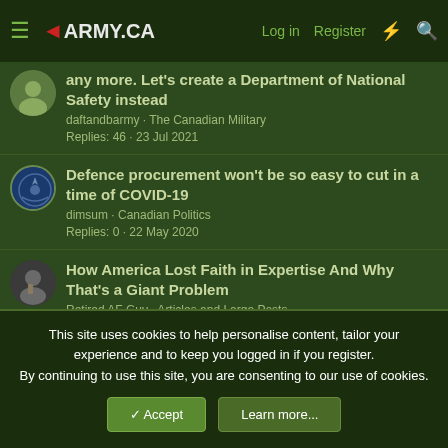Army.ca - Log in - Register
any more. Let's create a Department of National Safety instead
daftandbarmy · The Canadian Military
Replies: 46 · 23 Jul 2021
Defence procurement won't be so easy to cut in a time of COVID-19
dimsum · Canadian Politics
Replies: 0 · 22 May 2020
How America Lost Faith in Expertise And Why That's a Giant Problem
Retired AF Guy · Articles and Large Posts
Replies: 10 · 1 Apr 2020
This site uses cookies to help personalise content, tailor your experience and to keep you logged in if you register.
By continuing to use this site, you are consenting to our use of cookies.
Accept  Learn more...